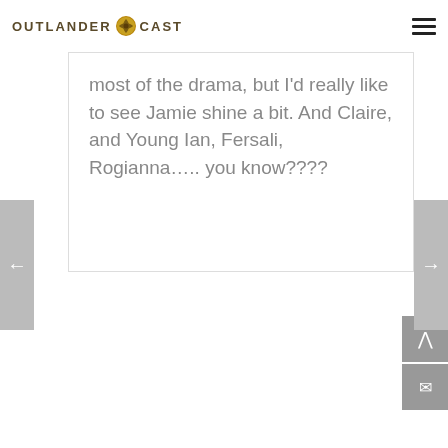OUTLANDER CAST
most of the drama, but I'd really like to see Jamie shine a bit. And Claire, and Young Ian, Fersali, Rogianna….. you know????